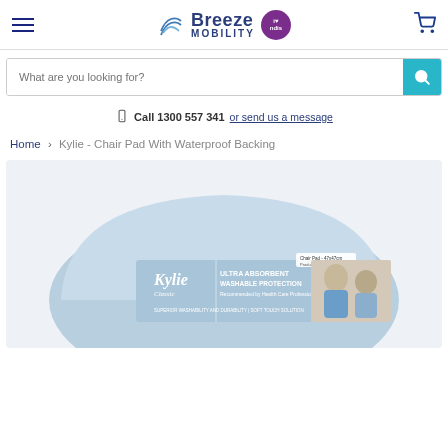Breeze Mobility — navigation header with logo, NDIS badge, and cart icon
What are you looking for?
Call 1300 557 341 or send us a message
Home > Kylie - Chair Pad With Waterproof Backing
[Figure (photo): Product photo of Kylie Classic Chair Pad With Waterproof Backing packaging — a pale blue rounded chair pad with label reading: Kylie Classic, Ultra Absorbent Washable Protection, Recommended by Health Care Professionals, Superior Washability and Durability, Soft Touch Solution. Inset photo shows smiling elderly couple.]